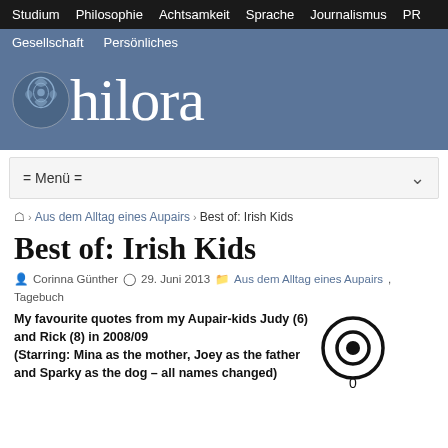Studium  Philosophie  Achtsamkeit  Sprache  Journalismus  PR
Gesellschaft  Persönliches
[Figure (logo): Philora website logo: decorative letter P with ornamental design followed by 'hilora' in serif font on blue background]
= Menü =
🏠 > Aus dem Alltag eines Aupairs > Best of: Irish Kids
Best of: Irish Kids
Corinna Günther  29. Juni 2013  Aus dem Alltag eines Aupairs, Tagebuch
My favourite quotes from my Aupair-kids Judy (6) and Rick (8) in 2008/09
(Starring: Mina as the mother, Joey as the father and Sparky as the dog – all names changed)
[Figure (infographic): Comment count widget: circle with dot inside (target/eye icon) and number 0 below]